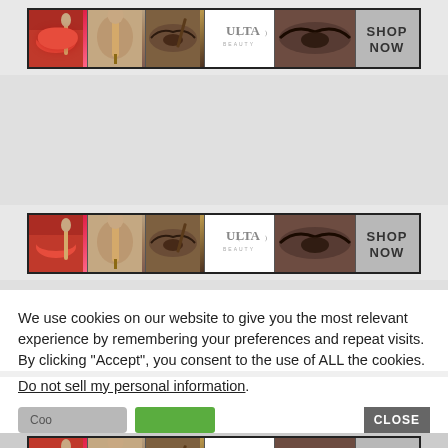[Figure (advertisement): Ulta Beauty banner ad showing makeup photos (lips, brush, eyes) with ULTA logo and SHOP NOW text]
[Figure (advertisement): Second Ulta Beauty banner ad identical to the first]
We use cookies on our website to give you the most relevant experience by remembering your preferences and repeat visits. By clicking “Accept”, you consent to the use of ALL the cookies.
Do not sell my personal information.
[Figure (screenshot): Cookie consent dialog bottom with Cookie Settings button, Accept button (green), and CLOSE button (gray)]
[Figure (advertisement): Third Ulta Beauty banner ad at bottom, partially visible]